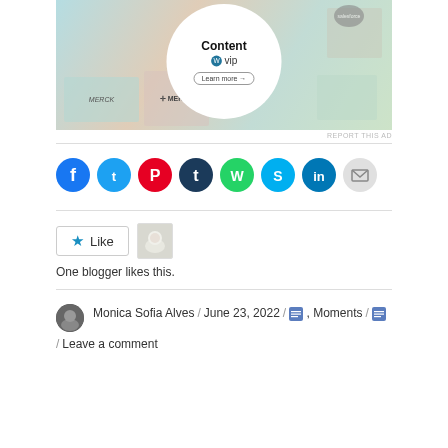[Figure (photo): WordPress VIP advertisement banner showing branded content promotion with Merck logos and colorful card layout, featuring a circular overlay with 'Content', WordPress VIP logo, and 'Learn more' button]
REPORT THIS AD
[Figure (infographic): Row of social media sharing icons: Facebook (blue), Twitter (light blue), Pinterest (red), Tumblr (dark navy), WhatsApp (green), Skype (cyan), LinkedIn (dark blue), Email (gray)]
[Figure (infographic): Like button with star icon and a blogger avatar thumbnail photo showing a white dog]
One blogger likes this.
Monica Sofia Alves / June 23, 2022 / [icon], Moments / [icon] / Leave a comment